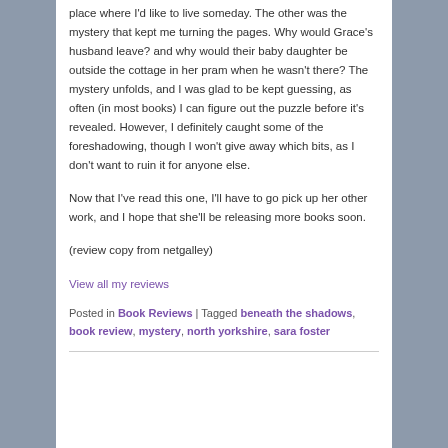place where I'd like to live someday. The other was the mystery that kept me turning the pages. Why would Grace's husband leave? and why would their baby daughter be outside the cottage in her pram when he wasn't there? The mystery unfolds, and I was glad to be kept guessing, as often (in most books) I can figure out the puzzle before it's revealed. However, I definitely caught some of the foreshadowing, though I won't give away which bits, as I don't want to ruin it for anyone else.
Now that I've read this one, I'll have to go pick up her other work, and I hope that she'll be releasing more books soon.
(review copy from netgalley)
View all my reviews
Posted in Book Reviews | Tagged beneath the shadows, book review, mystery, north yorkshire, sara foster